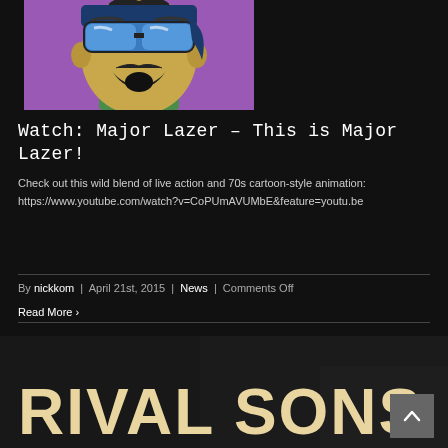[Figure (illustration): Comic-style illustration of a man with a beard and bandana wearing large stylized sunglasses on a purple background]
Watch: Major Lazer – This is Major Lazer!
Check out this wild blend of live action and 70s cartoon-style animation:
https://www.youtube.com/watch?v=CoPUmAVUMbE&feature=youtu.be
By nickkom | April 21st, 2015 | News | Comments Off
Read More >
[Figure (photo): Dark background image with bold text reading RIVAL SONS in large tan/cream colored letters]